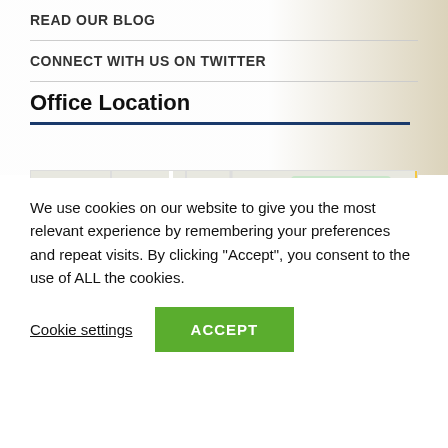READ OUR BLOG
CONNECT WITH US ON TWITTER
Office Location
[Figure (map): Google Maps view showing Rolling Meadows area with landmarks including Hyderabad Biryani Place, Coach House Bar & Grill, South Salk Park, Rolling Meadows High School, Moretti's, and Homewood Suites Chicago. Major roads shown in yellow including Route 53.]
We use cookies on our website to give you the most relevant experience by remembering your preferences and repeat visits. By clicking “Accept”, you consent to the use of ALL the cookies.
Cookie settings
ACCEPT